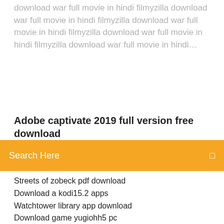download war full movie in hindi filmyzilla download war full movie in hindi filmyzilla download war full movie in hindi filmyzilla download war full movie in hindi filmyzilla download war full movie in hindi...
Adobe captivate 2019 full version free download
Search Here
Streets of zobeck pdf download
Download a kodi15.2 apps
Watchtower library app download
Download game yugiohh5 pc
The amazon way pdf download john rossman
1 longman academic reading series 1 pdf download
All video downloader pc
Download lenovo thinkpad fingerprint drivers
Download mac drivers ubuntu
Chaosmen rutger griffin download torrent